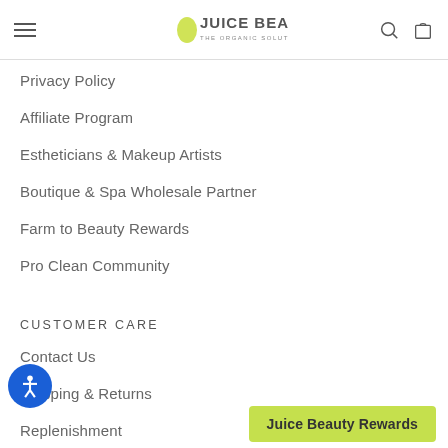Juice Beauty — The Organic Solution
Privacy Policy
Affiliate Program
Estheticians & Makeup Artists
Boutique & Spa Wholesale Partner
Farm to Beauty Rewards
Pro Clean Community
CUSTOMER CARE
Contact Us
Shipping & Returns
Replenishment
Store Locator
Juice Beauty Rewards